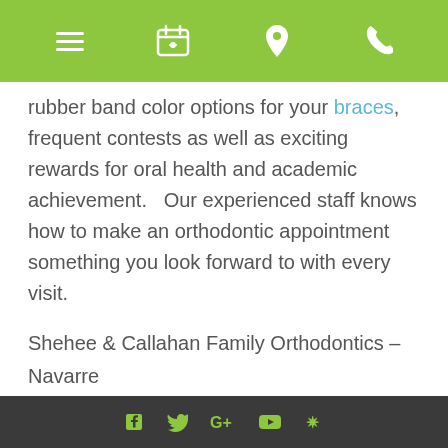[navigation bar with hamburger menu, calendar icon, location pin icon, phone icon]
rubber band color options for your braces, frequent contests as well as exciting rewards for oral health and academic achievement.   Our experienced staff knows how to make an orthodontic appointment something you look forward to with every visit.
Shehee & Callahan Family Orthodontics – Navarre
7552 Navarre Pkwy.
Harvest Village Suite #60
Navarre, FL 32566
Phone: (850) 939-3422
Fax: (850) 939-5229
Hours:  Monday-Friday 8:00 a.m. – 5:00 p.m.
[social media icons: Facebook, Twitter, Google+, YouTube, Yelp]